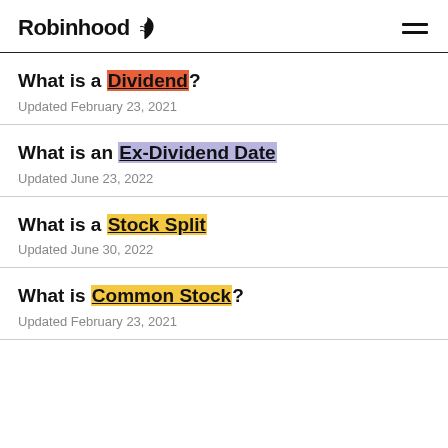Robinhood
What is a Dividend?
Updated February 23, 2021
What is an Ex-Dividend Date
Updated June 23, 2022
What is a Stock Split
Updated June 30, 2022
What is Common Stock?
Updated February 23, 2021